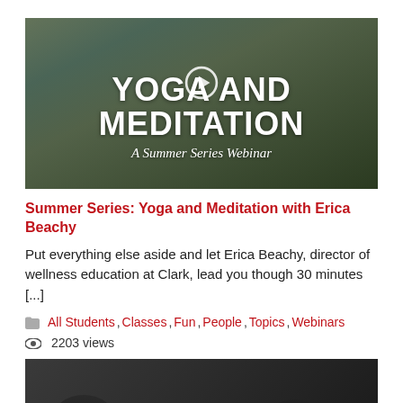[Figure (screenshot): Thumbnail for yoga and meditation webinar video with text overlay: YOGA AND MEDITATION, A Summer Series Webinar]
Summer Series: Yoga and Meditation with Erica Beachy
Put everything else aside and let Erica Beachy, director of wellness education at Clark, lead you though 30 minutes [...]
All Students, Classes, Fun, People, Topics, Webinars
2203 views
[Figure (screenshot): Thumbnail for 'WHY MAKE ART' video with people in foreground]